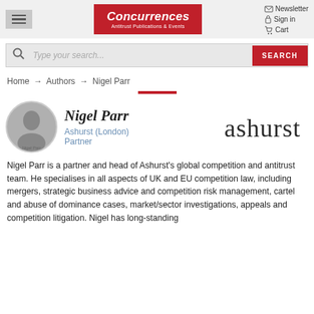[Figure (screenshot): Concurrences Antitrust Publications & Events website header with hamburger menu, logo, newsletter/sign-in/cart links, search bar, breadcrumb navigation, and author profile for Nigel Parr of Ashurst London]
Concurrences | Antitrust Publications & Events
Home → Authors → Nigel Parr
Nigel Parr
Ashurst (London)
Partner
Nigel Parr is a partner and head of Ashurst's global competition and antitrust team. He specialises in all aspects of UK and EU competition law, including mergers, strategic business advice and competition risk management, cartel and abuse of dominance cases, market/sector investigations, appeals and competition litigation. Nigel has long-standing